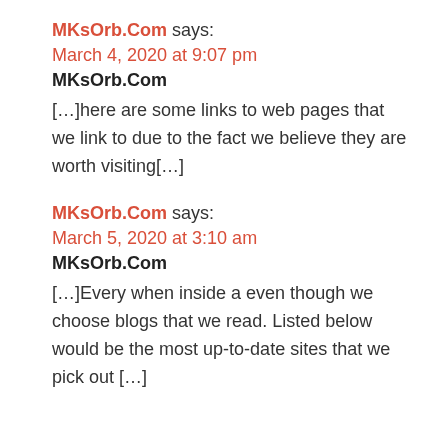MKsOrb.Com says:
March 4, 2020 at 9:07 pm
MKsOrb.Com
[…]here are some links to web pages that we link to due to the fact we believe they are worth visiting[…]
MKsOrb.Com says:
March 5, 2020 at 3:10 am
MKsOrb.Com
[…]Every when inside a even though we choose blogs that we read. Listed below would be the most up-to-date sites that we pick out […]